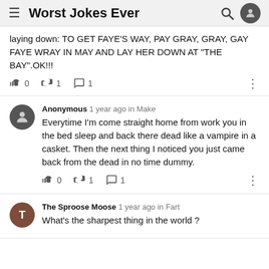Worst Jokes Ever
laying down: TO GET FAYE'S WAY, PAY GRAY, GRAY, GAY FAYE WRAY IN MAY AND LAY HER DOWN AT "THE BAY".OK!!!
Anonymous 1 year ago in Make
Everytime I'm come straight home from work you in the bed sleep and back there dead like a vampire in a casket. Then the next thing I noticed you just came back from the dead in no time dummy.
The Sproose Moose 1 year ago in Fart
What's the sharpest thing in the world ?